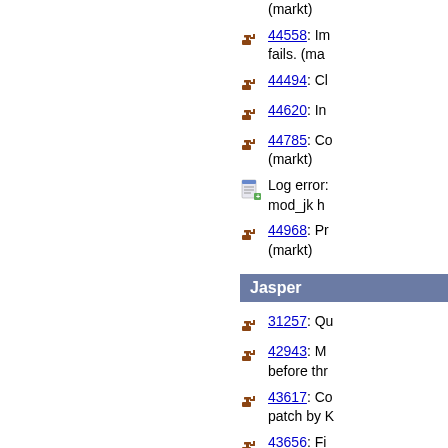(markt)
44558: Im fails. (mar
44494: Ch
44620: In
44785: Co (markt)
Log error: mod_jk h
44968: Pr (markt)
Jasper
31257: Qu
42943: M before thr
43617: Co patch by K
43656: Fi Eckert and Konstanti